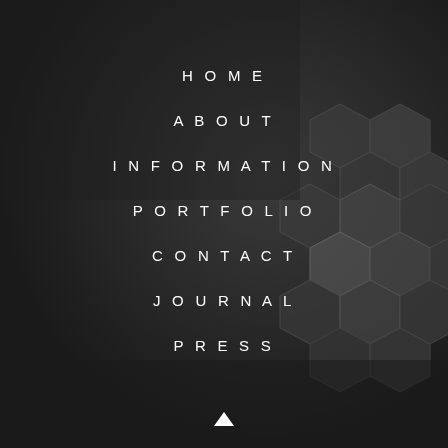[Figure (photo): Dark background with hexagonal geometric shapes/tiles visible on the right side, appearing 3D and dark gray in color. Overall dark moody aesthetic.]
HOME
ABOUT
INFORMATION
PORTFOLIO
CONTACT
JOURNAL
PRESS